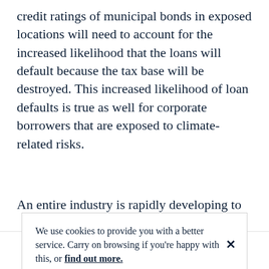credit ratings of municipal bonds in exposed locations will need to account for the increased likelihood that the loans will default because the tax base will be destroyed. This increased likelihood of loan defaults is true as well for corporate borrowers that are exposed to climate-related risks.
An entire industry is rapidly developing to
We use cookies to provide you with a better service. Carry on browsing if you're happy with this, or find out more.
[email icon] [print icon] [twitter icon] [linkedin icon]